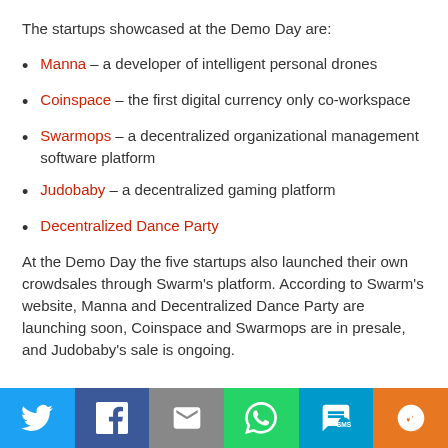The startups showcased at the Demo Day are:
Manna – a developer of intelligent personal drones
Coinspace – the first digital currency only co-workspace
Swarmops – a decentralized organizational management software platform
Judobaby – a decentralized gaming platform
Decentralized Dance Party
At the Demo Day the five startups also launched their own crowdsales through Swarm's platform. According to Swarm's website, Manna and Decentralized Dance Party are launching soon, Coinspace and Swarmops are in presale, and Judobaby's sale is ongoing.
Social sharing bar: Twitter, Facebook, Email, WhatsApp, SMS, More